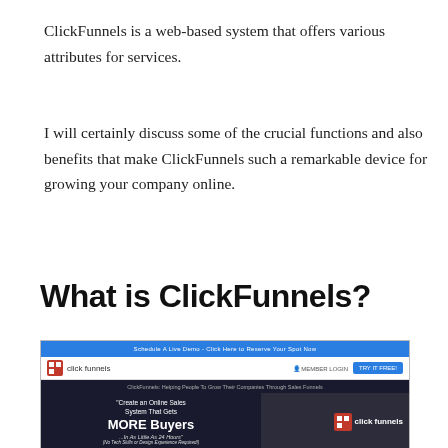ClickFunnels is a web-based system that offers various attributes for services.
I will certainly discuss some of the crucial functions and also benefits that make ClickFunnels such a remarkable device for growing your company online.
What is ClickFunnels?
[Figure (screenshot): Screenshot of ClickFunnels website showing the homepage with navigation bar, blue announcement bar, dark hero section with text 'Create an Online Sales System That Gets MORE Buyers ...In As Little As 24 Hours' and a photo of a person wearing a ClickFunnels branded shirt.]